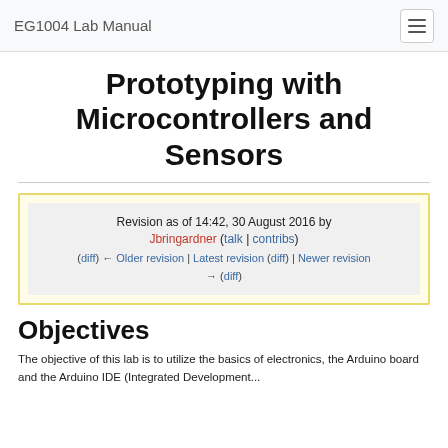EG1004 Lab Manual
Prototyping with Microcontrollers and Sensors
Revision as of 14:42, 30 August 2016 by Jbringardner (talk | contribs)
(diff) ← Older revision | Latest revision (diff) | Newer revision → (diff)
Objectives
The objective of this lab is to utilize the basics of electronics, the Arduino board and the Arduino IDE (Integrated Development...